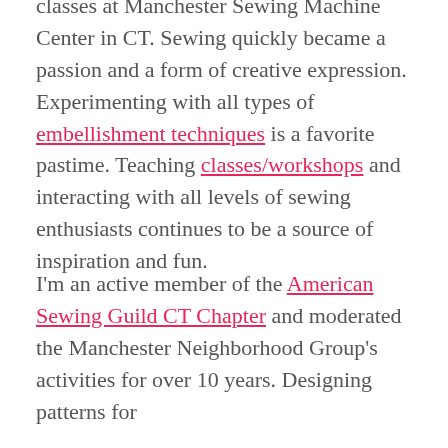classes at Manchester Sewing Machine Center in CT. Sewing quickly became a passion and a form of creative expression. Experimenting with all types of embellishment techniques is a favorite pastime. Teaching classes/workshops and interacting with all levels of sewing enthusiasts continues to be a source of inspiration and fun.
I'm an active member of the American Sewing Guild CT Chapter and moderated the Manchester Neighborhood Group's activities for over 10 years. Designing patterns for